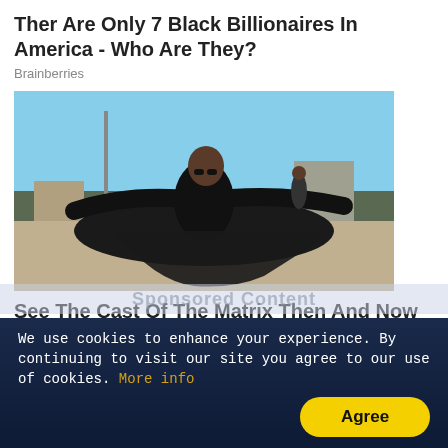Ther Are Only 7 Black Billionaires In America - Who Are They?
Brainberries
[Figure (photo): A person in a black coat with arms spread wide, leaning back dramatically on a rooftop surface. Another figure stands in the background. Sky with trees visible. Scene resembles The Matrix movie.]
See The Cast Of The Matrix Then And Now
Brainberries
ADVERTISEMENT
Sponsored Content
We use cookies to enhance your experience. By continuing to visit our site you agree to our use of cookies. More info
Agree